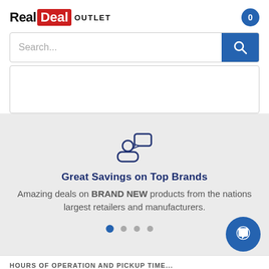[Figure (logo): RealDeal OUTLET logo with 'Real' in black bold, 'Deal' in white on red background, 'OUTLET' in small caps]
[Figure (infographic): Cart icon showing '0' in a blue circle in the top right]
Search...
[Figure (illustration): Person with speech bubble icon in blue outline style]
Great Savings on Top Brands
Amazing deals on BRAND NEW products from the nations largest retailers and manufacturers.
[Figure (infographic): Carousel dots: first dot active (blue), three grey dots]
[Figure (infographic): Blue circle chat bubble button in bottom right]
HOURS OF OPERATION AND PICKUP TIME...